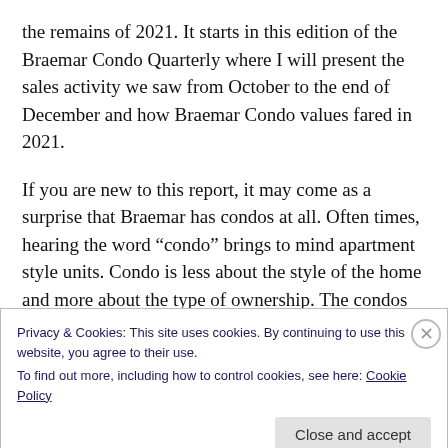the remains of 2021. It starts in this edition of the Braemar Condo Quarterly where I will present the sales activity we saw from October to the end of December and how Braemar Condo values fared in 2021.
If you are new to this report, it may come as a surprise that Braemar has condos at all. Often times, hearing the word “condo” brings to mind apartment style units. Condo is less about the style of the home and more about the type of ownership. The condos present in Braemar are townhouse style dwellings that are registered with the
Privacy & Cookies: This site uses cookies. By continuing to use this website, you agree to their use.
To find out more, including how to control cookies, see here: Cookie Policy
Close and accept